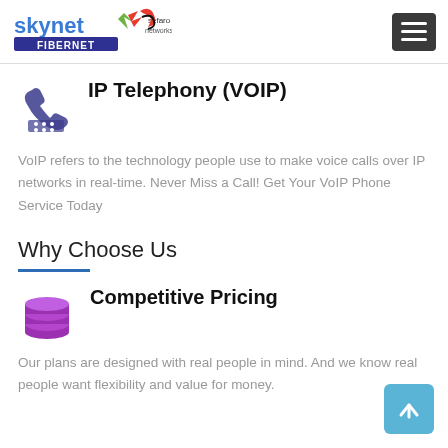skynet FIBERNET / sefaro networks
IP Telephony (VOIP)
VoIP refers to the technology people use to make voice calls over IP networks in real-time. Never Miss a Call! Get Your VoIP Phone Service Today
Why Choose Us
Competitive Pricing
Our plans are designed with real people in mind. And we know real people want flexibility and value for money.